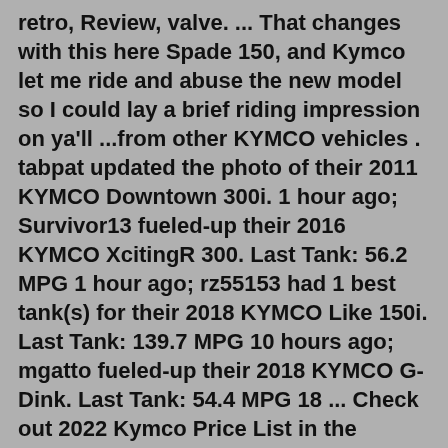retro, Review, valve. ... That changes with this here Spade 150, and Kymco let me ride and abuse the new model so I could lay a brief riding impression on ya'll ...from other KYMCO vehicles . tabpat updated the photo of their 2011 KYMCO Downtown 300i. 1 hour ago; Survivor13 fueled-up their 2016 KYMCO XcitingR 300. Last Tank: 56.2 MPG 1 hour ago; rz55153 had 1 best tank(s) for their 2018 KYMCO Like 150i. Last Tank: 139.7 MPG 10 hours ago; mgatto fueled-up their 2018 KYMCO G-Dink. Last Tank: 54.4 MPG 18 ... Check out 2022 Kymco Price List in the Philippines, The cheapest Kymco Motorcycle & Scooter is Visar for ₱43,900 and the most expensive one is AK550 for ₱549,000 . View Kymco Scooters price list in detail (DP & Monthly Installment), reviews, fuel consumption, images, specifications, variants and more. Get great deals and promos on Kymco ...KBB.com has the Kymco values and pricing you're looking for from 2015 to 2019. With a year range in mind, it's easy to zero in on the